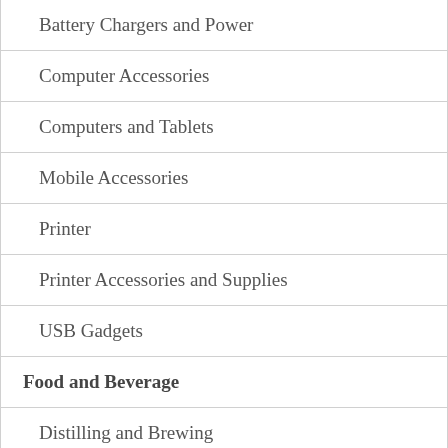| Battery Chargers and Power |
| Computer Accessories |
| Computers and Tablets |
| Mobile Accessories |
| Printer |
| Printer Accessories and Supplies |
| USB Gadgets |
| Food and Beverage |
| Distilling and Brewing |
| Furniture |
| Bar Stools and Chairs |
| Bath... |